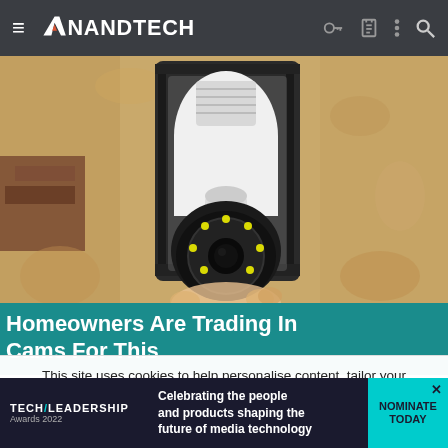AnandTech navigation bar with hamburger menu, logo, and icons (key, clipboard, dots, search)
[Figure (photo): Close-up photo of a light bulb security camera installed in an outdoor wall lantern fixture against a textured stucco wall. The device appears to be a WiFi camera shaped like a light bulb with a visible camera lens and LED ring at the bottom.]
Homeowners Are Trading In Their Doorbell Cams For This
This site uses cookies to help personalise content, tailor your experience and to keep you logged in if you register.
By continuing to use this site, you are consenting to our use of cookies.
[Figure (infographic): Tech Leadership Awards 2022 advertisement banner. Left: Tech/Leadership Awards 2022 logo in white on dark background. Middle: 'Celebrating the people and products shaping the future of media technology'. Right: Cyan/teal button with 'NOMINATE TODAY' and an X close button.]